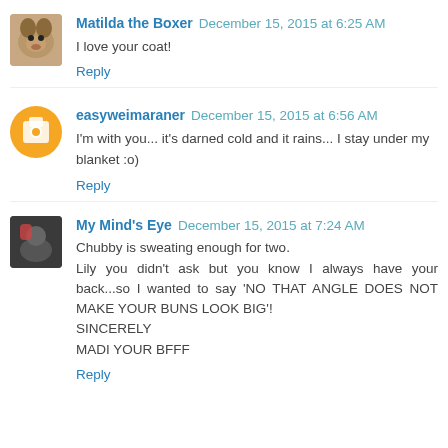Matilda the Boxer  December 15, 2015 at 6:25 AM
I love your coat!
Reply
easyweimaraner  December 15, 2015 at 6:56 AM
I'm with you... it's darned cold and it rains... I stay under my blanket :o)
Reply
My Mind's Eye  December 15, 2015 at 7:24 AM
Chubby is sweating enough for two.
Lily you didn't ask but you know I always have your back...so I wanted to say 'NO THAT ANGLE DOES NOT MAKE YOUR BUNS LOOK BIG'!
SINCERELY
MADI YOUR BFFF
Reply